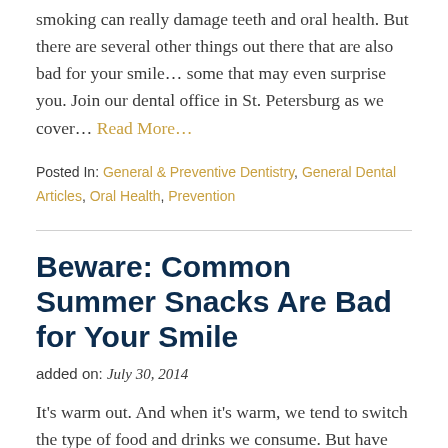smoking can really damage teeth and oral health. But there are several other things out there that are also bad for your smile… some that may even surprise you. Join our dental office in St. Petersburg as we cover… Read More…
Posted In: General & Preventive Dentistry, General Dental Articles, Oral Health, Prevention
Beware: Common Summer Snacks Are Bad for Your Smile
added on: July 30, 2014
It's warm out. And when it's warm, we tend to switch the type of food and drinks we consume. But have